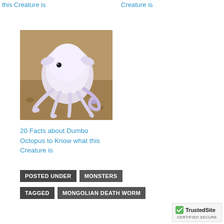this Creature is
Creature is
[Figure (photo): A white/pale Dumbo octopus on a sandy seafloor background]
20 Facts about Dumbo Octopus to Know what this Creature is
POSTED UNDER   MONSTERS
TAGGED   MONGOLIAN DEATH WORM
[Figure (logo): TrustedSite Certified Secure badge]